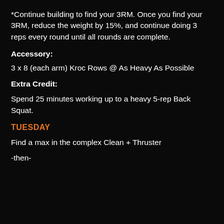*Continue building to find your 3RM. Once you find your 3RM, reduce the weight by 15%, and continue doing 3 reps every round until all rounds are complete.
Accessory:
3 x 8 (each arm) Kroc Rows @ As Heavy As Possible
Extra Credit:
Spend 25 minutes working up to a heavy 5-rep Back Squat.
TUESDAY
Find a max in the complex Clean + Thruster
-then-